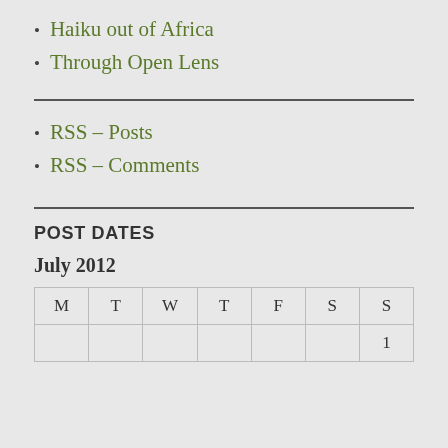Haiku out of Africa
Through Open Lens
RSS – Posts
RSS – Comments
POST DATES
July 2012
| M | T | W | T | F | S | S |
| --- | --- | --- | --- | --- | --- | --- |
|  |  |  |  |  |  | 1 |